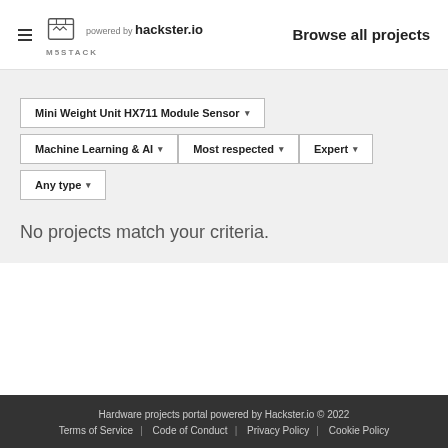powered by hackster.io  Browse all projects  M5STACK
Mini Weight Unit HX711 Module Sensor ▾
Machine Learning & AI ▾
Most respected ▾
Expert ▾
Any type ▾
No projects match your criteria.
Hardware projects portal powered by Hackster.io © 2022  Terms of Service  Code of Conduct  Privacy Policy  Cookie Policy